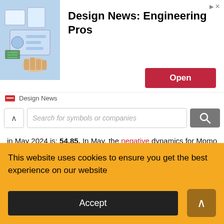[Figure (screenshot): Advertisement banner for Design News: Engineering Pros with an Open button and Design News branding]
Search for symbols or companies
in May 2024 is: 54.85. In May, the negative dynamics for Momo shares will prevail with possible monthly volatility of 8.765% volatility is expected.
Pessimistic target level: 52.61
Optimistic target level: 57.67
Target values for the price of one DocuSign share for Jun 2024.
The weighted average target price per DocuSign share
This website uses cookies to ensure you get the best experience on our website